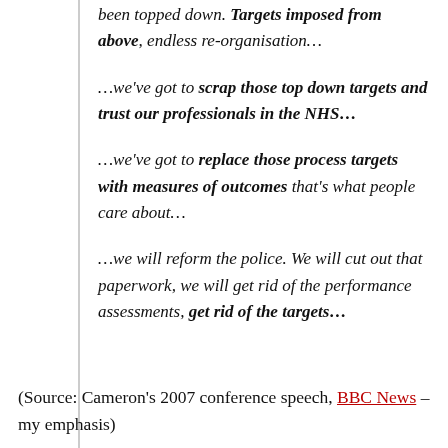been topped down. Targets imposed from above, endless re-organisation…
…we've got to scrap those top down targets and trust our professionals in the NHS…
…we've got to replace those process targets with measures of outcomes that's what people care about…
…we will reform the police. We will cut out that paperwork, we will get rid of the performance assessments, get rid of the targets…
(Source: Cameron's 2007 conference speech, BBC News – my emphasis)